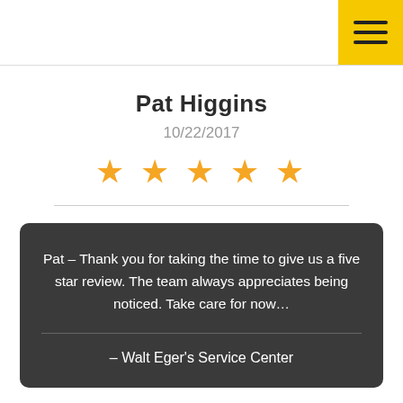[Figure (other): Hamburger menu icon on yellow background in top-right corner]
Pat Higgins
10/22/2017
[Figure (other): Five gold/orange star rating icons]
Pat – Thank you for taking the time to give us a five star review. The team always appreciates being noticed. Take care for now…
– Walt Eger's Service Center